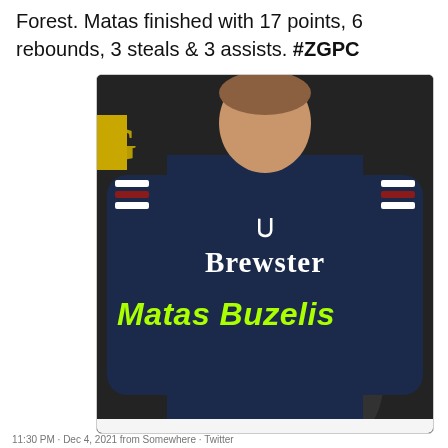Forest. Matas finished with 17 points, 6 rebounds, 3 steals & 3 assists. #ZGPC
[Figure (photo): Photo of Matas Buzelis wearing a navy Brewster Under Armour jersey, standing in front of a dark backdrop with Adidas and ZGPC logos. A bright green-yellow text overlay reads 'Matas Buzelis' across the lower portion of the jersey.]
11:30 PM · Dec 4, 2021 from Somewhere · Twitter